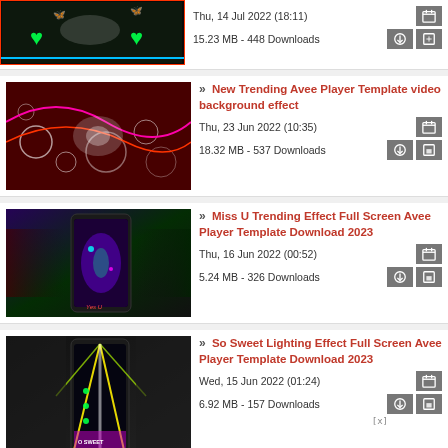[Figure (screenshot): Top partial card with green hearts on dark background, thumbnail cropped at top]
Thu, 14 Jul 2022 (18:11)
15.23 MB - 448 Downloads
[Figure (screenshot): New Trending Avee Player Template video background effect thumbnail with colorful abstract bubbles]
» New Trending Avee Player Template video background effect
Thu, 23 Jun 2022 (10:35)
18.32 MB - 537 Downloads
[Figure (screenshot): Miss U Trending Effect Full Screen Avee Player Template thumbnail with phone showing colorful effect]
» Miss U Trending Effect Full Screen Avee Player Template Download 2023
Thu, 16 Jun 2022 (00:52)
5.24 MB - 326 Downloads
[Figure (screenshot): So Sweet Lighting Effect Full Screen Avee Player Template thumbnail with phone showing yellow light rays]
» So Sweet Lighting Effect Full Screen Avee Player Template Download 2023
Wed, 15 Jun 2022 (01:24)
6.92 MB - 157 Downloads
[Figure (screenshot): Partial bottom card thumbnail partially visible]
Download Now
ayer template Download 2023 (partial)